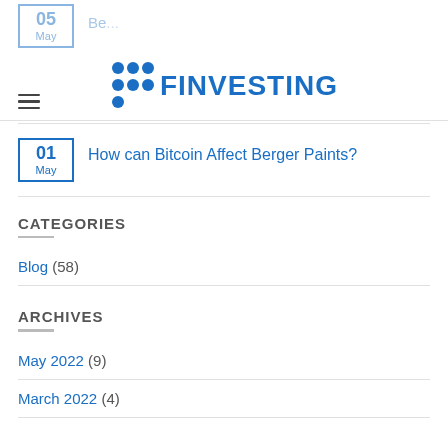[Figure (logo): Finvesting logo with blue dot grid and blue bold text FINVESTING]
05 May [partial article title clipped]
How can Bitcoin Affect Berger Paints? — 01 May
CATEGORIES
Blog (58)
ARCHIVES
May 2022 (9)
March 2022 (4)